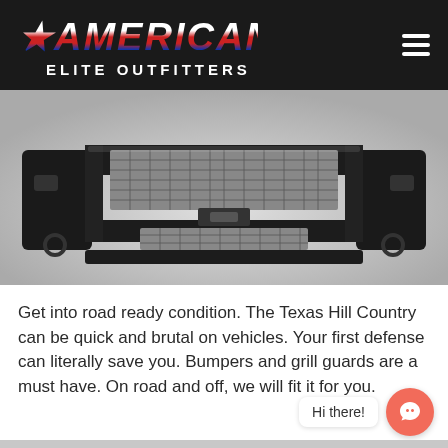[Figure (logo): American Elite Outfitters logo with patriotic red, white, and blue lettering on dark background, hamburger menu icon top right]
[Figure (photo): Black heavy-duty truck front bumper with mesh grille guard, shown on white/grey background]
Get into road ready condition. The Texas Hill Country can be quick and brutal on vehicles. Your first defense can literally save you. Bumpers and grill guards are a must have. On road and off, we will fit it for you.